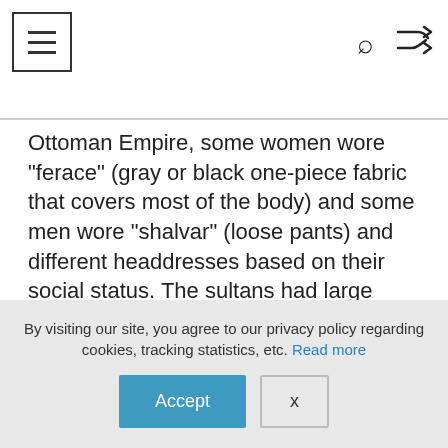Navigation menu, search, and shuffle icons
Ottoman Empire, some women wore “ferace” (gray or black one-piece fabric that covers most of the body) and some men wore “shalvar” (loose pants) and different headdresses based on their social status. The sultans had large white silk sash wound over the head and decorated with rubies and feathers called “kavuk”. There are local costumes that are mostly worn during local festivals and celebrations. You can check out some examples here: http://www.google.com/images?
By visiting our site, you agree to our privacy policy regarding cookies, tracking statistics, etc. Read more